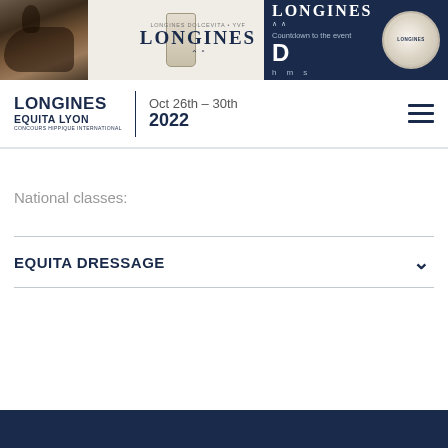[Figure (screenshot): Longines banner ad with horse rider photo, DolceVita watch image, Longines logo and branding on white background (left portion)]
[Figure (screenshot): Longines countdown banner on dark navy background with watch photo, brand name, 'Countdown to the event', day counter 'D' with h m s labels]
[Figure (logo): Longines Equita Lyon Concours Hippique International logo with date Oct 26th – 30th 2022 and hamburger menu icon]
National classes:
EQUITA DRESSAGE